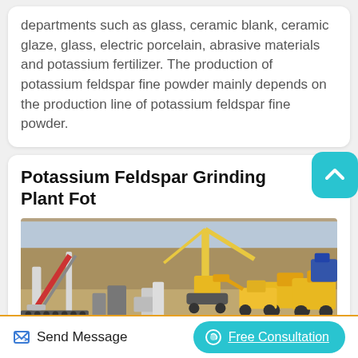departments such as glass, ceramic blank, ceramic glaze, glass, electric porcelain, abrasive materials and potassium fertilizer. The production of potassium feldspar fine powder mainly depends on the production line of potassium feldspar fine powder.
Potassium Feldspar Grinding Plant Fot
[Figure (photo): Aerial/ground-level photo of a potassium feldspar grinding plant construction site showing heavy machinery including cranes, excavators, conveyor structures, and construction equipment on sandy terrain.]
Send Message
Free Consultation